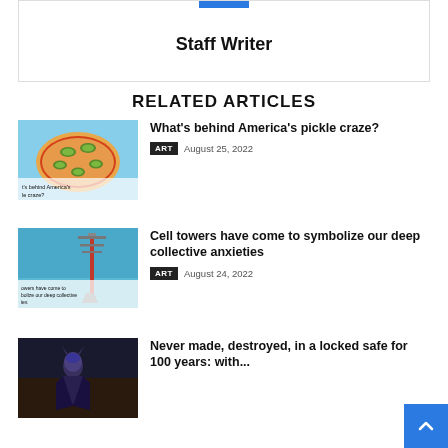Staff Writer
RELATED ARTICLES
[Figure (photo): Pizza topped with pickle slices on a light blue background with text overlay 't's behind America's le craze?']
What's behind America's pickle craze?
ART  August 25, 2022
[Figure (photo): Cell tower against a blue sky with text overlay 'towers have come to bolize our deep collective ies']
Cell towers have come to symbolize our deep collective anxieties
ART  August 24, 2022
[Figure (photo): A person in a superhero costume in a dark setting]
Never made, destroyed, in a locked safe for 100 years: with...